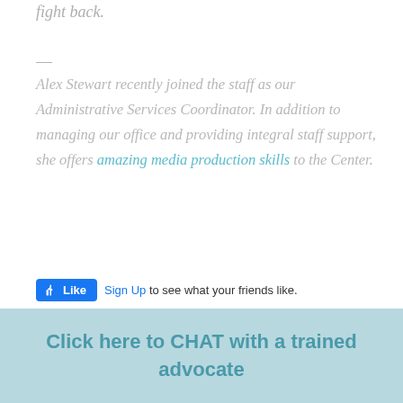fight back.
—
Alex Stewart recently joined the staff as our Administrative Services Coordinator. In addition to managing our office and providing integral staff support, she offers amazing media production skills to the Center.
[Figure (screenshot): Facebook Like button widget with 'Sign Up to see what your friends like.' text]
Click here to CHAT with a trained advocate